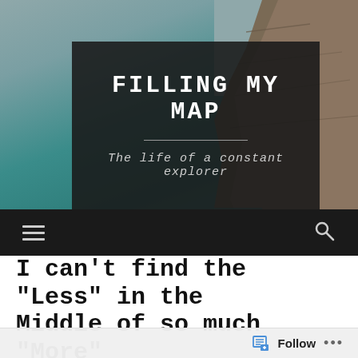[Figure (photo): Hero background photo of tropical bay with turquoise-green water and rocky limestone cliffs on the right side]
FILLING MY MAP
The life of a constant explorer
[Figure (screenshot): Navigation bar with hamburger menu icon on the left and search icon on the right, dark background]
I can't find the “Less” in the Middle of so much “More”
Follow